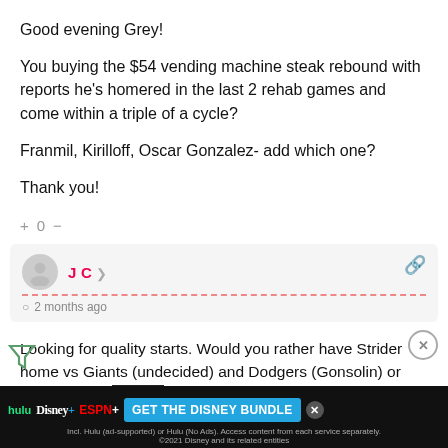Good evening Grey!
You buying the $54 vending machine steak rebound with reports he's homered in the last 2 rehab games and come within a triple of a cycle?
Franmil, Kirilloff, Oscar Gonzalez- add which one?
Thank you!
+ 0 −
J C   2 months ago
Looking for quality starts. Would you rather have Strider home vs Giants (undecided) and Dodgers (Gonsolin) or Kirby on the r...(Wells).?
[Figure (screenshot): Disney Bundle advertisement banner at the bottom showing Hulu, Disney+, ESPN+ logos and GET THE DISNEY BUNDLE call to action]